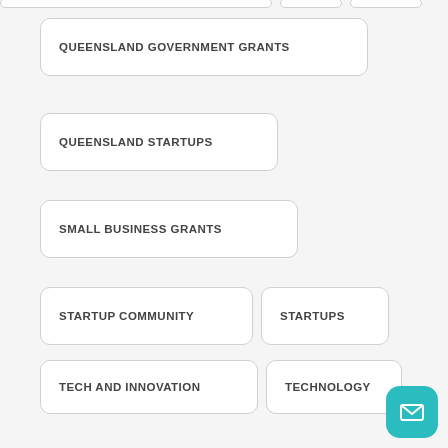QUEENSLAND GOVERNMENT GRANTS
QUEENSLAND STARTUPS
SMALL BUSINESS GRANTS
STARTUP COMMUNITY
STARTUPS
TECH AND INNOVATION
TECHNOLOGY
TRAVEL APPS
UBER
WEB APP DEVELOPMENT